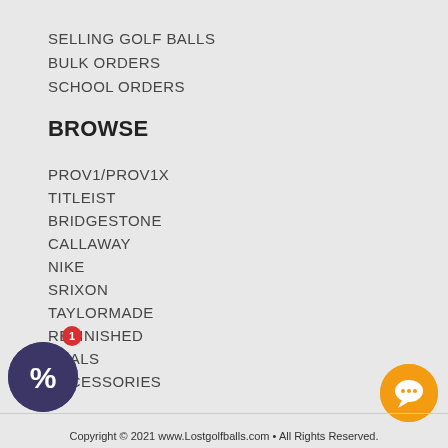SELLING GOLF BALLS
BULK ORDERS
SCHOOL ORDERS
BROWSE
PROV1/PROV1X
TITLEIST
BRIDGESTONE
CALLAWAY
NIKE
SRIXON
TAYLORMADE
REFINISHED
DEALS
ACCESSORIES
Copyright © 2021 www.Lostgolfballs.com • All Rights Reserved.